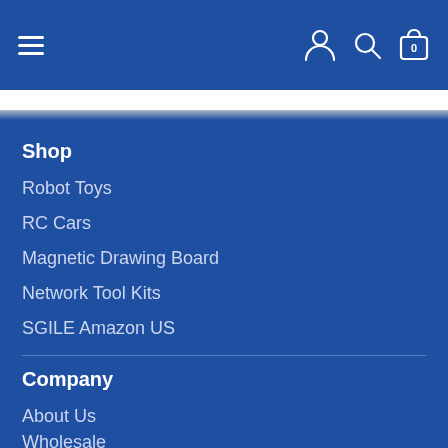Navigation header with hamburger menu, user icon, search icon, and cart (0)
Shop
Robot Toys
RC Cars
Magnetic Drawing Board
Network Tool Kits
SGILE Amazon US
Company
About Us
Wholesale